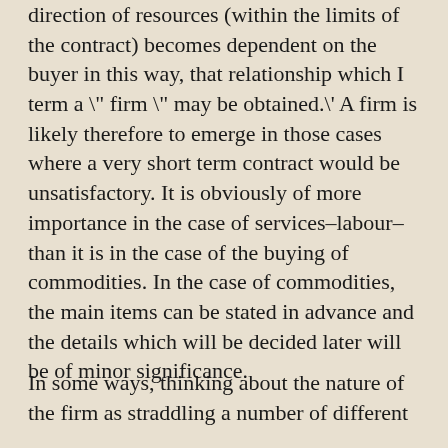direction of resources (within the limits of the contract) becomes dependent on the buyer in this way, that relationship which I term a \" firm \" may be obtained.\' A firm is likely therefore to emerge in those cases where a very short term contract would be unsatisfactory. It is obviously of more importance in the case of services–labour–than it is in the case of the buying of commodities. In the case of commodities, the main items can be stated in advance and the details which will be decided later will be of minor significance.
In some ways, thinking about the nature of the firm as straddling a number of different